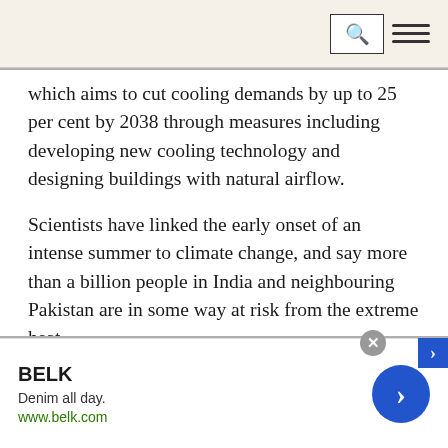[search icon] [hamburger menu]
which aims to cut cooling demands by up to 25 per cent by 2038 through measures including developing new cooling technology and designing buildings with natural airflow.
Scientists have linked the early onset of an intense summer to climate change, and say more than a billion people in India and neighbouring Pakistan are in some way at risk from the extreme heat.
SE4ALL found Pakistan's largest city of Karachi - along with many others including Mumbai and